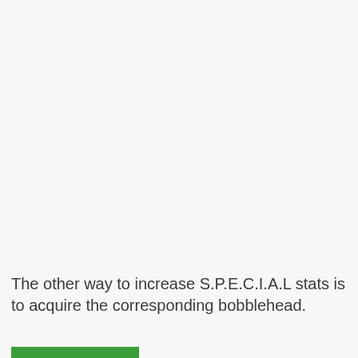The other way to increase S.P.E.C.I.A.L stats is to acquire the corresponding bobblehead.